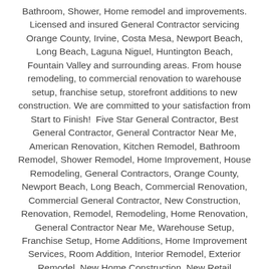Bathroom, Shower, Home remodel and improvements. Licensed and insured General Contractor servicing Orange County, Irvine, Costa Mesa, Newport Beach, Long Beach, Laguna Niguel, Huntington Beach, Fountain Valley and surrounding areas. From house remodeling, to commercial renovation to warehouse setup, franchise setup, storefront additions to new construction. We are committed to your satisfaction from Start to Finish!  Five Star General Contractor, Best General Contractor, General Contractor Near Me, American Renovation, Kitchen Remodel, Bathroom Remodel, Shower Remodel, Home Improvement, House Remodeling, General Contractors, Orange County, Newport Beach, Long Beach, Commercial Renovation, Commercial General Contractor, New Construction, Renovation, Remodel, Remodeling, Home Renovation, General Contractor Near Me, Warehouse Setup, Franchise Setup, Home Additions, Home Improvement Services, Room Addition, Interior Remodel, Exterior Remodel, New Home Construction, New Retail Construction, New Office Construction, Storefront Replacement, Tenant Improvement, Laguna Niguel, Rancho Palos Verdes, Dana Point, Mission Viejo, Lake Forest,